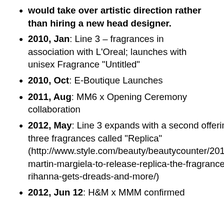would take over artistic direction rather than hiring a new head designer.
2010, Jan: Line 3 – fragrances in association with L'Oreal; launches with unisex Fragrance “Untitled”
2010, Oct: E-Boutique Launches
2011, Aug: MM6 x Opening Ceremony collaboration
2012, May: Line 3 expands with a second offering, a set of three fragrances called “Replica” (http://www.style.com/beauty/beautycounter/2012/05/maison-martin-margiela-to-release-replica-the-fragrance-line-rihanna-gets-dreads-and-more/)
2012, Jun 12: H&M x MMM confirmed